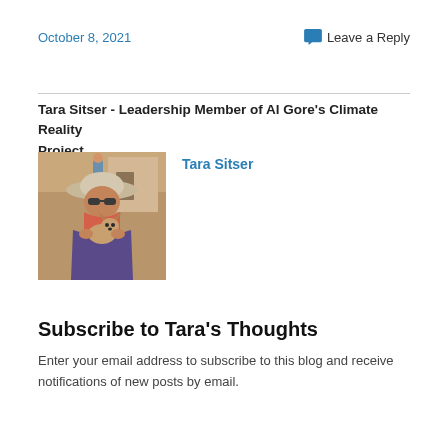October 8, 2021
Leave a Reply
Tara Sitser - Leadership Member of Al Gore's Climate Reality Project
[Figure (photo): Photo of Tara Sitser wearing a hat and sunglasses, holding a small dog, outdoors in front of a building]
Tara Sitser
Subscribe to Tara's Thoughts
Enter your email address to subscribe to this blog and receive notifications of new posts by email.